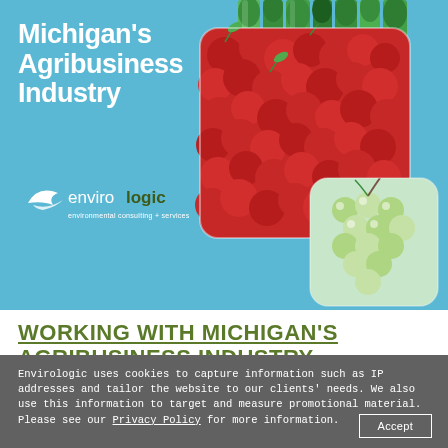[Figure (photo): Blue background banner with asparagus stalks on right, a rounded square image of red cherries in center-right, and a rounded image of green grapes lower-right. Envirologic logo with bird/leaf icon and text 'envirologic environmental consulting + services' on left. White bold text reading 'Michigan's Agribusiness Industry'.]
Michigan's Agribusiness Industry
WORKING WITH MICHIGAN'S AGRIBUSINESS INDUSTRY
Envirologic uses cookies to capture information such as IP addresses and tailor the website to our clients' needs. We also use this information to target and measure promotional material. Please see our Privacy Policy for more information.